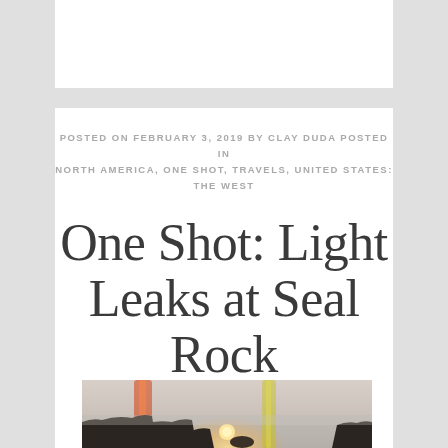POSTED ON FEBRUARY 3, 2019 BY CLAY DUDA POSTED IN NORTH AMERICA, ONE SHOT, TRAVELS, UNITED STATES: THE WEST
One Shot: Light Leaks at Seal Rock
[Figure (photo): Coastal ocean scene at sunset/sunrise with light leaks (colorful lens flares of orange and yellow) visible. Dark rocky silhouettes in foreground against a misty ocean and hazy sky.]